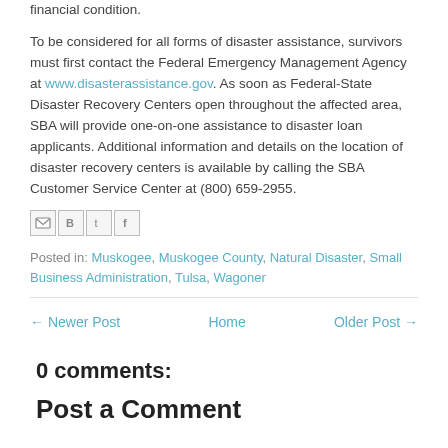financial condition.
To be considered for all forms of disaster assistance, survivors must first contact the Federal Emergency Management Agency at www.disasterassistance.gov. As soon as Federal-State Disaster Recovery Centers open throughout the affected area, SBA will provide one-on-one assistance to disaster loan applicants. Additional information and details on the location of disaster recovery centers is available by calling the SBA Customer Service Center at (800) 659-2955.
[Figure (other): Social share icons: email (M), Blogger (B), Twitter (t), Facebook (f)]
Posted in: Muskogee, Muskogee County, Natural Disaster, Small Business Administration, Tulsa, Wagoner
← Newer Post   Home   Older Post →
0 comments:
Post a Comment